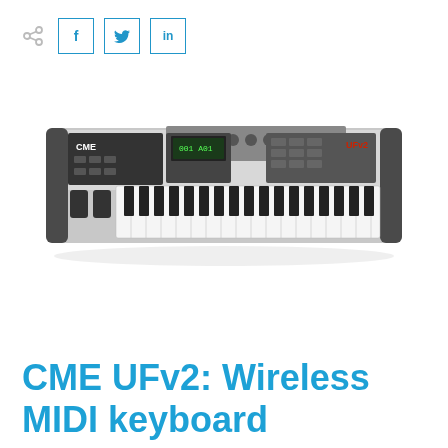[Figure (photo): Social sharing icons: share symbol, Facebook 'f', Twitter bird, LinkedIn 'in' buttons with blue borders]
[Figure (photo): CME UFv2 wireless MIDI keyboard controller shown in perspective view — silver and black body with keys, knobs, and control panel]
CME UFv2: Wireless MIDI keyboard